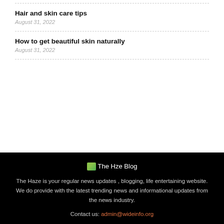Hair and skin care tips
August 31, 2022
How to get beautiful skin naturally
August 31, 2022
[Figure (logo): The Hze Blog logo with green icon]
The Haze is your regular news updates , blogging, life entertaining website. We do provide with the latest trending news and informational updates from the news industry.
Contact us: admin@wideinfo.org